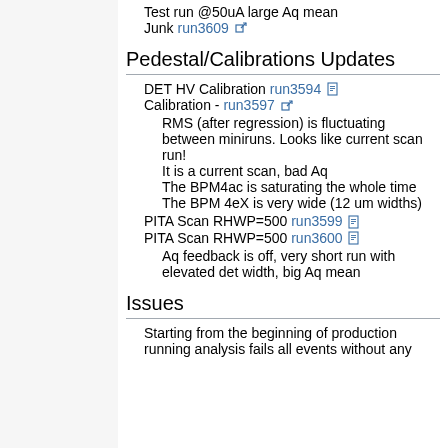Test run @50uA large Aq mean
Junk run3609
Pedestal/Calibrations Updates
DET HV Calibration run3594
Calibration - run3597
RMS (after regression) is fluctuating between miniruns. Looks like current scan run!
It is a current scan, bad Aq
The BPM4ac is saturating the whole time
The BPM 4eX is very wide (12 um widths)
PITA Scan RHWP=500 run3599
PITA Scan RHWP=500 run3600
Aq feedback is off, very short run with elevated det width, big Aq mean
Issues
Starting from the beginning of production running analysis fails all events without any